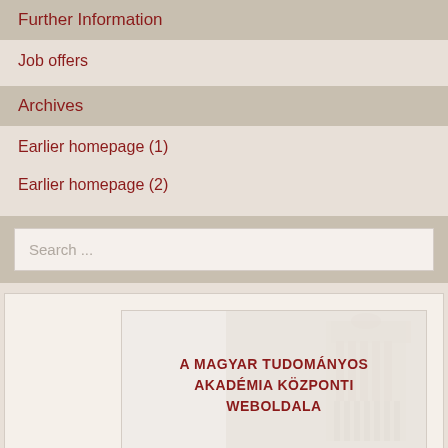Further Information
Job offers
Archives
Earlier homepage (1)
Earlier homepage (2)
Search ...
[Figure (illustration): A Magyar Tudományos Akadémia Központi Weboldala - card with Hungarian Academy of Sciences building background]
[Figure (illustration): A Magyar Tudományos - partial card with building background]